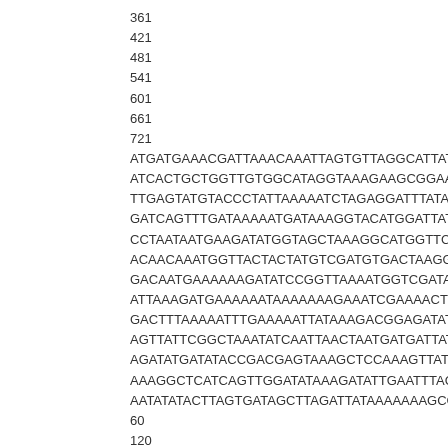361
421
481
541
601
661
721
ATGATGAAACGATTAAACAAATTAGTGTTAGGCATTATTTTTCTGT
ATCACTGCTGGTTGTGGCATAGGTAAAGAAGCGGAAGTTAAGAA
TTGAGTATGTACCCTATTAAAAATCTAGAGGATTTATACGATAAGG
GATCAGTTTGATAAAAATGATAAAGGTACATGGATTATAAATTCTGA
CCTAATAATGAAGATATGGTAGCTAAAGGCATGGTTCTATATATGA
ACAACAAATGGTTACTACTATGTCGATGTGACTAAGGACGAGGAT
GACAATGAAAAAAGATATCCGGTTAAAATGGTCGATAATAAAATCA
ATTAAAGATGAAAAAATAAAAAAAGAAATCGAAAACTTTAAGTTCT
GACTTTAAAAATTTGAAAAATTATAAAGACGGAGATATTTCATATAA
AGTTATTCGGCTAAATATCAATTAACTAATGATGATTATAATGTAAA
AGATATGATATACCGACGAGTAAAGCTCCAAAGTTATTGTTAAAAC
AAAGGCTCATCAGTTGGATATAAAGATATTGAATTTACGTTTGTAG
AATATATACTTAGTGATAGCTTAGATTATAAAAAAAGCGGAGATGT
60
120
180